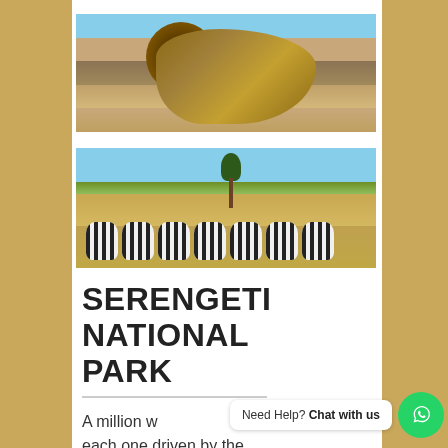[Figure (photo): A lion standing in dry savanna grassland, facing camera with dark mane, golden body, and dry grass background with light blue sky]
[Figure (photo): A group of zebras grazing on the open savanna plains with golden dry grass, a lone acacia tree in the background, and light blue sky]
SERENGETI NATIONAL PARK
A million w... each one driven by the